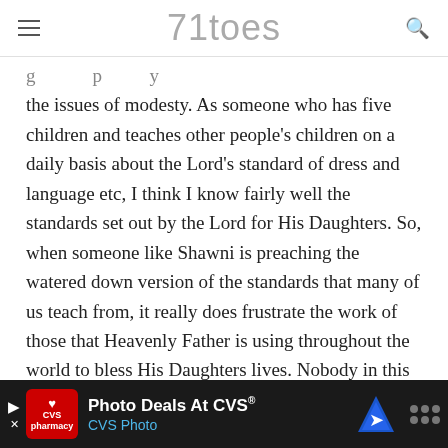71toes
the issues of modesty. As someone who has five children and teaches other people's children on a daily basis about the Lord's standard of dress and language etc, I think I know fairly well the standards set out by the Lord for His Daughters. So, when someone like Shawni is preaching the watered down version of the standards that many of us teach from, it really does frustrate the work of those that Heavenly Father is using throughout the world to bless His Daughters lives. Nobody in this post is disrespecting the writer at all. I can't see why so many have written to side with her and then go ahead to tear down others who speak out for the standard of dress and in the Church. So some...
[Figure (other): Advertisement banner for CVS Photo Deals at the bottom of the page]